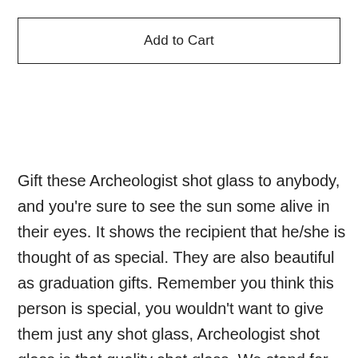Add to Cart
Gift these Archeologist shot glass to anybody, and you're sure to see the sun some alive in their eyes. It shows the recipient that he/she is thought of as special. They are also beautiful as graduation gifts. Remember you think this person is special, you wouldn't want to give them just any shot glass, Archeologist shot glass is that quality shot glass. We stand for quality all the time. Our Shot glasses are made from 1.5 oz, making them friendly in the microwave and in the dishwasher. They also come